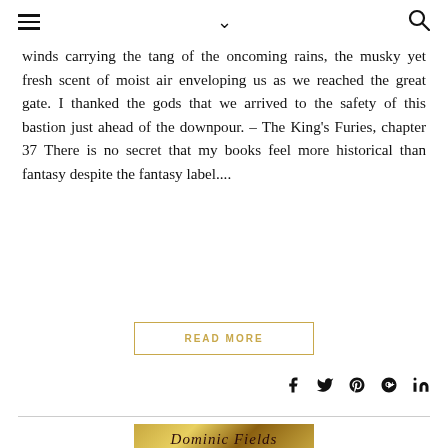☰  ∨  🔍
winds carrying the tang of the oncoming rains, the musky yet fresh scent of moist air enveloping us as we reached the great gate. I thanked the gods that we arrived to the safety of this bastion just ahead of the downpour. – The King's Furies, chapter 37 There is no secret that my books feel more historical than fantasy despite the fantasy label....
READ MORE
[Figure (other): Social media share icons: Facebook, Twitter, Pinterest, Google+, LinkedIn]
[Figure (photo): Bottom portion of a book cover showing the author name 'Dominic Fields' in stylized red text on a golden/yellow background]